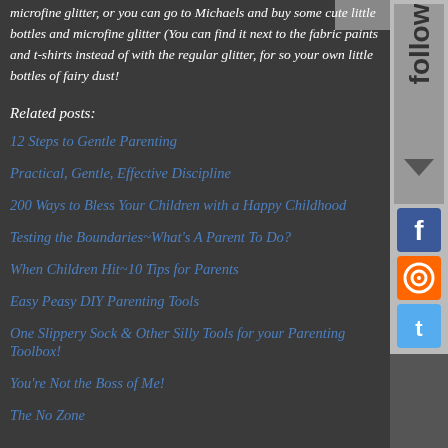microfine glitter, or you can go to Michaels and buy some cute little bottles and microfine glitter (You can find it next to the fabric paints and t-shirts instead of with the regular glitter, for so your own little bottles of fairy dust!
Related posts:
12 Steps to Gentle Parenting
Practical, Gentle, Effective Discipline
200 Ways to Bless Your Children with a Happy Childhood
Testing the Boundaries~What's A Parent To Do?
When Children Hit~10 Tips for Parents
Easy Peasy DIY Parenting Tools
One Slippery Sock & Other Silly Tools for your Parenting Toolbox!
You're Not the Boss of Me!
The No Zone